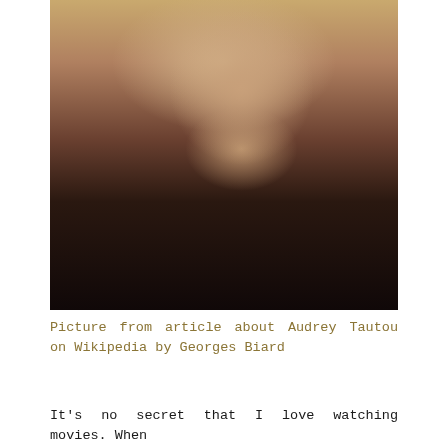[Figure (photo): Portrait photograph of Audrey Tautou, a woman with short curly dark hair, smiling, wearing a black patterned top. Background is warm golden/olive toned. Photo credited to Georges Biard.]
Picture from article about Audrey Tautou on Wikipedia by Georges Biard
It's no secret that I love watching movies. When